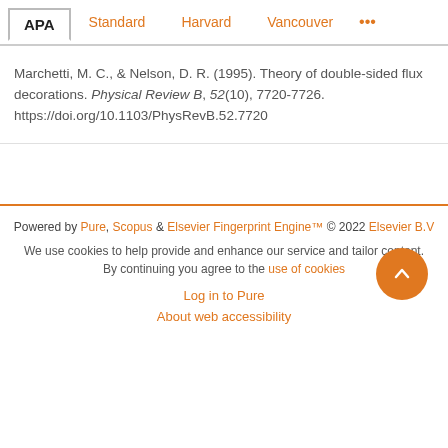APA | Standard | Harvard | Vancouver | ...
Marchetti, M. C., & Nelson, D. R. (1995). Theory of double-sided flux decorations. Physical Review B, 52(10), 7720-7726. https://doi.org/10.1103/PhysRevB.52.7720
Powered by Pure, Scopus & Elsevier Fingerprint Engine™ © 2022 Elsevier B.V
We use cookies to help provide and enhance our service and tailor content. By continuing you agree to the use of cookies
Log in to Pure
About web accessibility